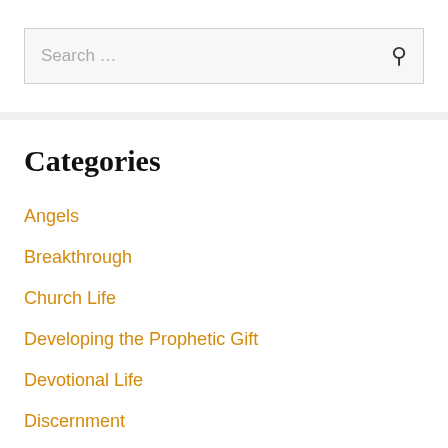Search ...
Categories
Angels
Breakthrough
Church Life
Developing the Prophetic Gift
Devotional Life
Discernment